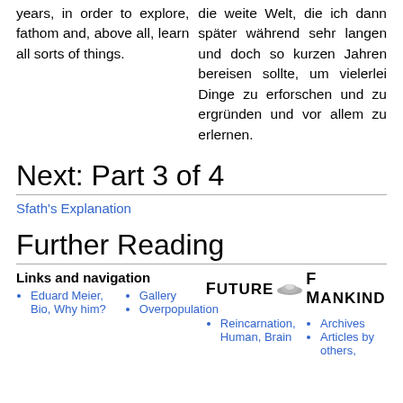years, in order to explore, fathom and, above all, learn all sorts of things.
die weite Welt, die ich dann später während sehr langen und doch so kurzen Jahren bereisen sollte, um vielerlei Dinge zu erforschen und zu ergründen und vor allem zu erlernen.
Next: Part 3 of 4
Sfath's Explanation
Further Reading
Links and navigation
[Figure (logo): Future of Mankind logo with small UFO/saucer icon between words]
Eduard Meier, Bio, Why him?
Gallery
Overpopulation
Reincarnation, Human, Brain
Archives
Articles by others,